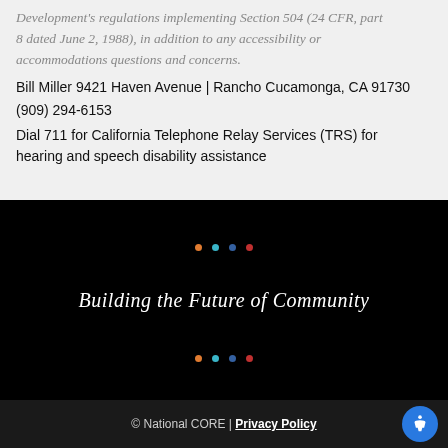Development's regulations implementing Section 504 (24 CFR, part 8 dated June 2, 1988), in addition to any accessibility or accommodations questions and concerns.
Bill Miller 9421 Haven Avenue | Rancho Cucamonga, CA 91730
(909) 294-6153
Dial 711 for California Telephone Relay Services (TRS) for hearing and speech disability assistance
[Figure (illustration): Black background section with four colored dots arranged horizontally (orange, cyan, blue, red) at top and bottom, and italic white text 'Building the Future of Community' in the center.]
© National CORE | Privacy Policy